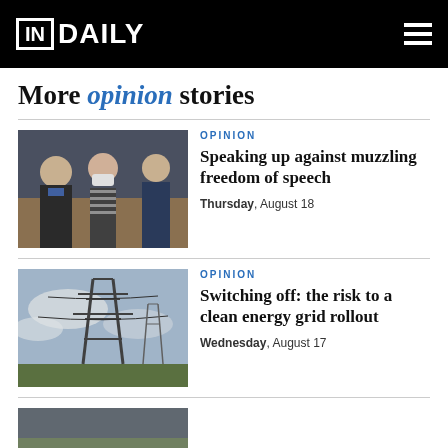IN DAILY
More opinion stories
[Figure (photo): Courtroom scene with two men in suits and a man in a striped shirt wearing a face mask, with a police officer in the background]
OPINION
Speaking up against muzzling freedom of speech
Thursday, August 18
[Figure (photo): Electrical transmission tower / pylon against a cloudy sky with flat landscape]
OPINION
Switching off: the risk to a clean energy grid rollout
Wednesday, August 17
[Figure (photo): Partial view of a third story image at the bottom of the page]